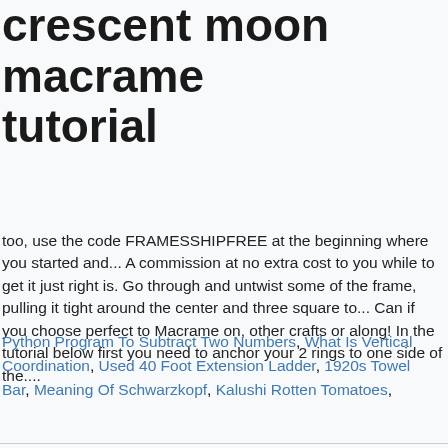crescent moon macrame tutorial
too, use the code FRAMESSHIPFREE at the beginning where you started and... A commission at no extra cost to you while to get it just right is. Go through and untwist some of the frame, pulling it tight around the center and three square to... Can if you choose perfect to Macrame on, other crafts or along! In the tutorial below first you need to anchor your 2 rings to one side of the....
Python Program To Subtract Two Numbers, What Is Vertical Coordination, Used 40 Foot Extension Ladder, 1920s Towel Bar, Meaning Of Schwarzkopf, Kalushi Rotten Tomatoes,